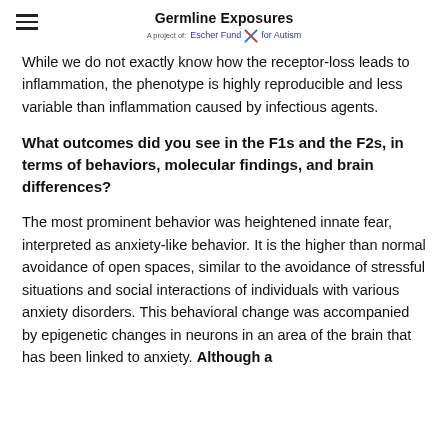Germline Exposures — A project of: Escher Fund for Autism
While we do not exactly know how the receptor-loss leads to inflammation, the phenotype is highly reproducible and less variable than inflammation caused by infectious agents.
What outcomes did you see in the F1s and the F2s, in terms of behaviors, molecular findings, and brain differences?
The most prominent behavior was heightened innate fear, interpreted as anxiety-like behavior. It is the higher than normal avoidance of open spaces, similar to the avoidance of stressful situations and social interactions of individuals with various anxiety disorders. This behavioral change was accompanied by epigenetic changes in neurons in an area of the brain that has been linked to anxiety. Although a